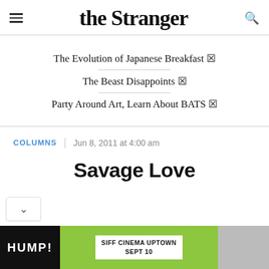the Stranger
The Evolution of Japanese Breakfast 🔗
The Beast Disappoints 🔗
Party Around Art, Learn About BATS 🔗
COLUMNS | Jun 8, 2011 at 4:00 am
Savage Love
[Figure (photo): Advertisement banner showing HUMP! and SIFF CINEMA UPTOWN SEPT 10]